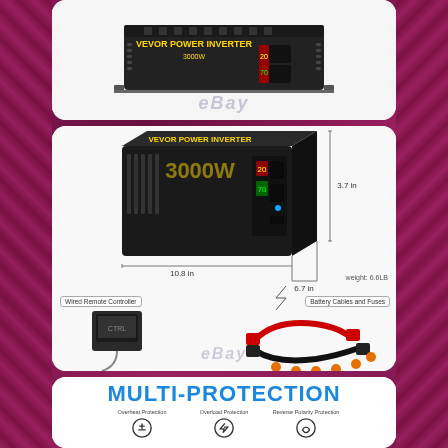[Figure (photo): Top card showing a power inverter device on a gray background with eBay watermark]
[Figure (photo): Middle card showing a black power inverter with dimension labels: 10.8in length, 6.7in width, 3.7in height, weight 6.6LB. Below are accessories: Wired Remote Controller (15 Feet cable) and Battery Cables and Fuses (6AWG 2Feet 40A)]
[Figure (infographic): Bottom card showing MULTI-PROTECTION section with icons for Overheat Protection, Overload Protection, and Reverse Polarity Protection]